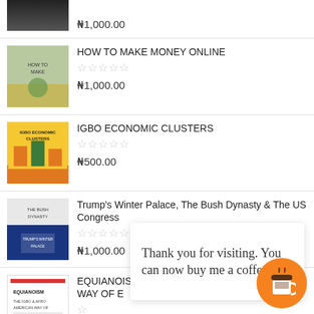[Figure (photo): Book cover - top item (partially visible, dark cover)]
₦1,000.00
[Figure (photo): Book cover - HOW TO MAKE MONEY ONLINE]
HOW TO MAKE MONEY ONLINE
₦1,000.00
[Figure (photo): Book cover - IGBO ECONOMIC CLUSTERS, yellow background]
IGBO ECONOMIC CLUSTERS
₦500.00
[Figure (photo): Book cover - Trump's Winter Palace, The Bush Dynasty & The US Congress]
Trump's Winter Palace, The Bush Dynasty & The US Congress
₦1,000.00
[Figure (photo): Book cover - EQUIANOISM: THE IGBO & AFRO AMERICAN WAY OF E...AN USE)]
EQUIANOISM: THE IGBO & AFRO AMERICAN WAY OF E                              AN USE)
Thank you for visiting. You can now buy me a coffee!